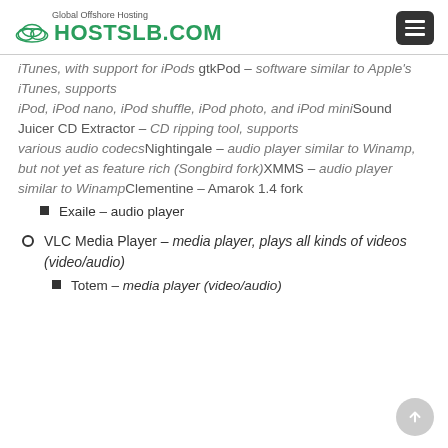Global Offshore Hosting HOSTSLB.COM
iTunes, with support for iPods gtkPod – software similar to Apple's iTunes, supports iPod, iPod nano, iPod shuffle, iPod photo, and iPod miniSound Juicer CD Extractor – CD ripping tool, supports various audio codecsNightingale – audio player similar to Winamp, but not yet as feature rich (Songbird fork)XMMS – audio player similar to WinampClementine – Amarok 1.4 fork
Exaile – audio player
VLC Media Player – media player, plays all kinds of videos (video/audio)
Totem – media player (video/audio)